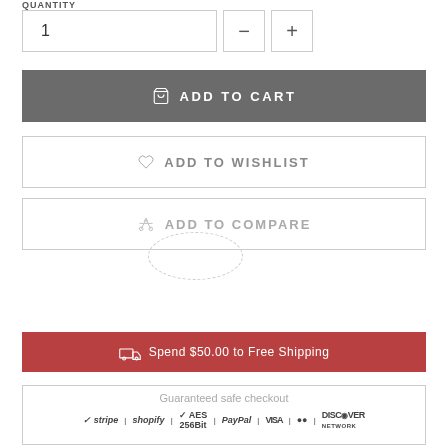QUANTITY
1
− +
ADD TO CART
ADD TO WISHLIST
ADD TO COMPARE
Spend $50.00 to Free Shipping
Guaranteed safe checkout
stripe shopify AES 256Bit PayPal VISA MasterCard DISCOVER NETWORK